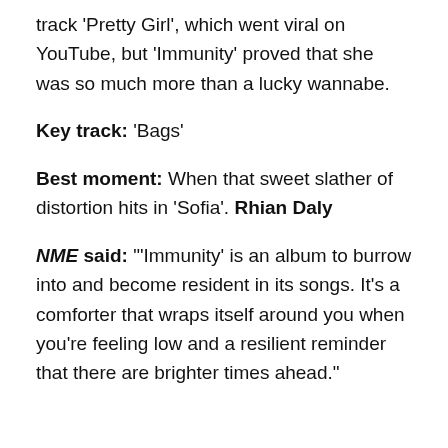track 'Pretty Girl', which went viral on YouTube, but 'Immunity' proved that she was so much more than a lucky wannabe.
Key track: 'Bags'
Best moment: When that sweet slather of distortion hits in 'Sofia'. Rhian Daly
NME said: "'Immunity' is an album to burrow into and become resident in its songs. It's a comforter that wraps itself around you when you're feeling low and a resilient reminder that there are brighter times ahead."